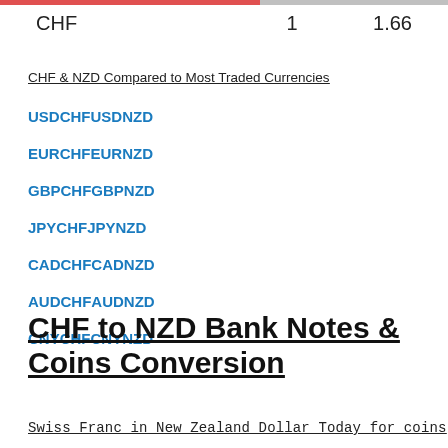CHF   1   1.66
CHF & NZD Compared to Most Traded Currencies
USDCHF
USDNZD
EURCHF
EURNZD
GBPCHF
GBPNZD
JPYCHF
JPYNZD
CADCHF
CADNZD
AUDCHF
AUDNZD
CNYCHF
CNYNZD
CHF to NZD Bank Notes & Coins Conversion
Swiss Franc in New Zealand Dollar Today for coins